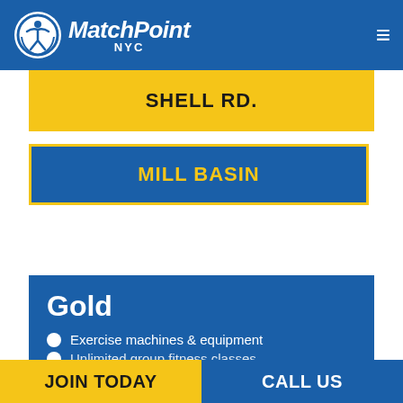MatchPoint NYC
SHELL RD.
MILL BASIN
Gold
Exercise machines & equipment
Unlimited group fitness classes
JOIN TODAY   CALL US